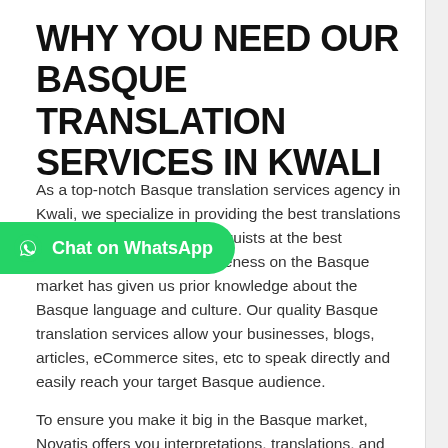WHY YOU NEED OUR BASQUE TRANSLATION SERVICES IN KWALI
As a top-notch Basque translation services agency in [Kwali, we specialize] in providing the best translations with our stream of native linguists at the best competitive rates. Our activeness on the Basque market has given us prior knowledge about the Basque language and culture. Our quality Basque translation services allow your businesses, blogs, articles, eCommerce sites, etc to speak directly and easily reach your target Basque audience.
To ensure you make it big in the Basque market, Novatis offers you interpretations, translations, and